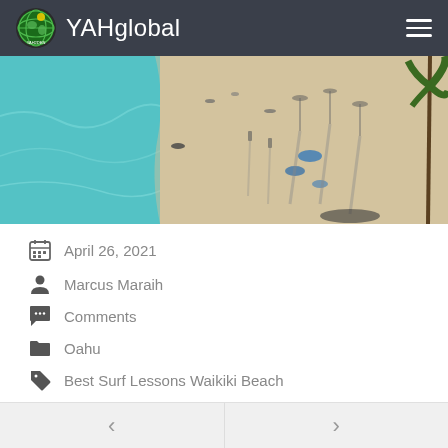YAHglobal
[Figure (photo): Aerial view of a beach with turquoise water on the left, sandy beach with people, umbrellas and shadows on the right, and palm trees visible at the edge.]
April 26, 2021
Marcus Maraih
Comments
Oahu
Best Surf Lessons Waikiki Beach
< >